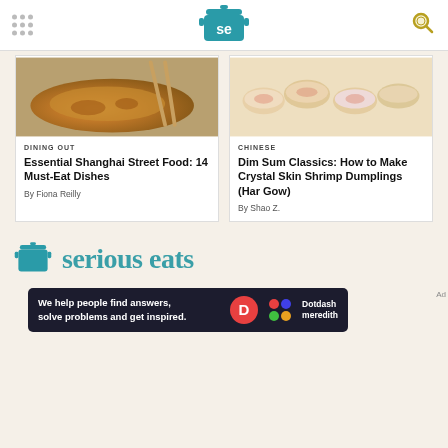Serious Eats header with logo and navigation
[Figure (photo): Shanghai street food dish - grilled/pan-fried item with chopsticks]
DINING OUT
Essential Shanghai Street Food: 14 Must-Eat Dishes
By Fiona Reilly
[Figure (photo): Crystal skin shrimp dumplings (har gow) on white surface]
CHINESE
Dim Sum Classics: How to Make Crystal Skin Shrimp Dumplings (Har Gow)
By Shao Z.
[Figure (logo): Serious Eats logo with teal pot icon and brand name]
[Figure (infographic): Dotdash Meredith ad banner: We help people find answers, solve problems and get inspired.]